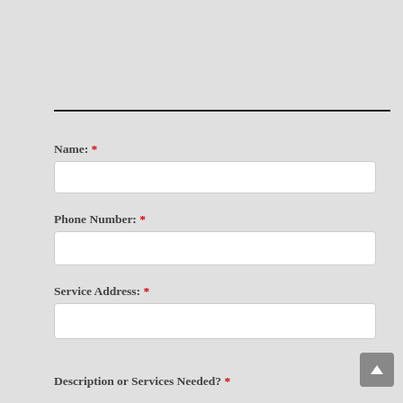— (horizontal rule/divider line)
Name: *
Phone Number: *
Service Address: *
Description or Services Needed? *